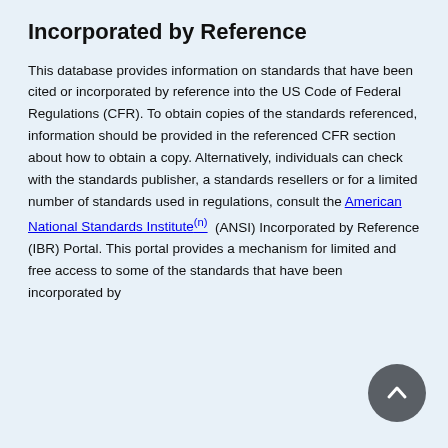Incorporated by Reference
This database provides information on standards that have been cited or incorporated by reference into the US Code of Federal Regulations (CFR). To obtain copies of the standards referenced, information should be provided in the referenced CFR section about how to obtain a copy. Alternatively, individuals can check with the standards publisher, a standards resellers or for a limited number of standards used in regulations, consult the American National Standards Institute (ANSI) Incorporated by Reference (IBR) Portal. This portal provides a mechanism for limited and free access to some of the standards that have been incorporated by